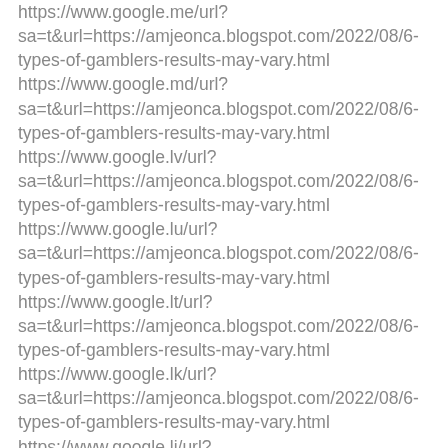https://www.google.me/url?sa=t&url=https://amjeonca.blogspot.com/2022/08/6-types-of-gamblers-results-may-vary.html
https://www.google.md/url?sa=t&url=https://amjeonca.blogspot.com/2022/08/6-types-of-gamblers-results-may-vary.html
https://www.google.lv/url?sa=t&url=https://amjeonca.blogspot.com/2022/08/6-types-of-gamblers-results-may-vary.html
https://www.google.lu/url?sa=t&url=https://amjeonca.blogspot.com/2022/08/6-types-of-gamblers-results-may-vary.html
https://www.google.lt/url?sa=t&url=https://amjeonca.blogspot.com/2022/08/6-types-of-gamblers-results-may-vary.html
https://www.google.lk/url?sa=t&url=https://amjeonca.blogspot.com/2022/08/6-types-of-gamblers-results-may-vary.html
https://www.google.li/url?sa=t&url=https://amjeonca.blogspot.com/2022/08/6-